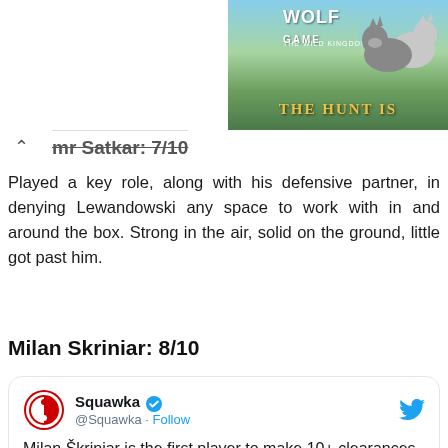[Figure (illustration): Wolf Game advertisement banner with wolves on green landscape and text 'THE HUNT IS']
mr Satkar: 7/10
Played a key role, along with his defensive partner, in denying Lewandowski any space to work with in and around the box. Strong in the air, solid on the ground, little got past him.
Milan Skriniar: 8/10
Squawka @Squawka · Follow
Milan Škriniar is the first player to make 10+ clearances in a single game at #EURO2020
94% pass accuracy
69 touches